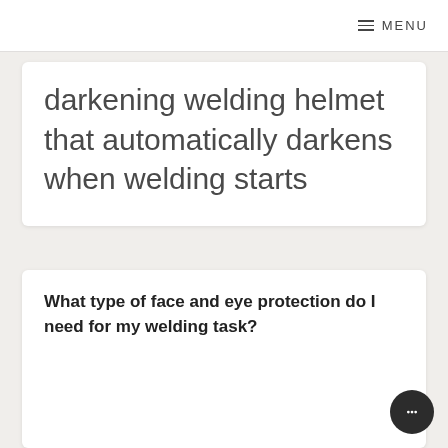MENU
darkening welding helmet that automatically darkens when welding starts
What type of face and eye protection do I need for my welding task?